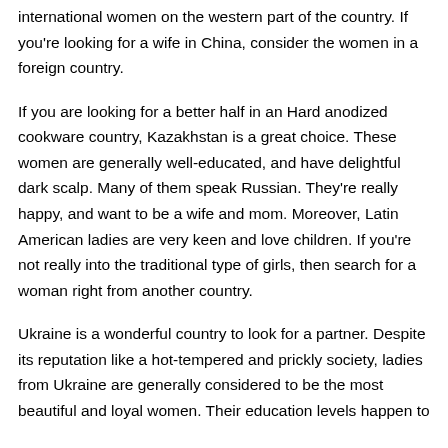international women on the western part of the country. If you're looking for a wife in China, consider the women in a foreign country.
If you are looking for a better half in an Hard anodized cookware country, Kazakhstan is a great choice. These women are generally well-educated, and have delightful dark scalp. Many of them speak Russian. They're really happy, and want to be a wife and mom. Moreover, Latin American ladies are very keen and love children. If you're not really into the traditional type of girls, then search for a woman right from another country.
Ukraine is a wonderful country to look for a partner. Despite its reputation like a hot-tempered and prickly society, ladies from Ukraine are generally considered to be the most beautiful and loyal women. Their education levels happen to